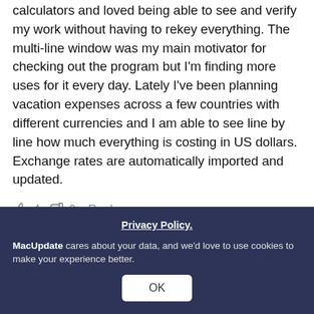calculators and loved being able to see and verify my work without having to rekey everything. The multi-line window was my main motivator for checking out the program but I'm finding more uses for it every day. Lately I've been planning vacation expenses across a few countries with different currencies and I am able to see line by line how much everything is costing in US dollars. Exchange rates are automatically imported and updated.
👍 4 👎 0   Reply
Fromage-Head
Jul 10 2008   ★ 0.0
Version 1.0.4
The calculator... ...app. hm why not using International preferences for decimals and thousands ?
Privacy Policy. MacUpdate cares about your data, and we'd love to use cookies to make your experience better. OK